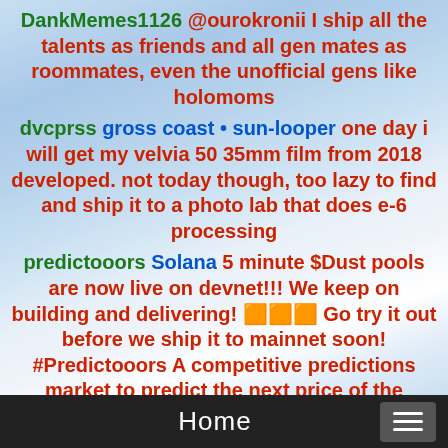DankMemes1126 @ourokronii I ship all the talents as friends and all gen mates as roommates, even the unofficial gens like holomoms
dvcprss gross coast • sun-looper one day i will get my velvia 50 35mm film from 2018 developed. not today though, too lazy to find and ship it to a photo lab that does e-6 processing
predictooors Solana 5 minute $Dust pools are now live on devnet!!! We keep on building and delivering! 🟧🟧🟧 Go try it out before we ship it to mainnet soon! #Predictooors A competitive predictions market to predict the next price of the SOL/USD pair.
Bricklair394 @pdcjay @pulisicfc22 Yeah, totally agree. Dude acts like a spoiled brat and is vindictive towards his own players. He can't figure
Home